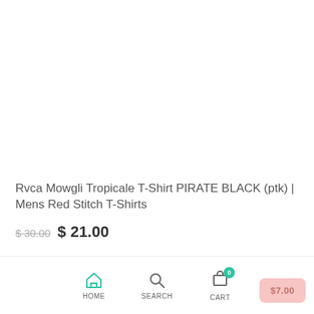Rvca Mowgli Tropicale T-Shirt PIRATE BLACK (ptk) | Mens Red Stitch T-Shirts
$ 30.00  $ 21.00
HOME   SEARCH   CART